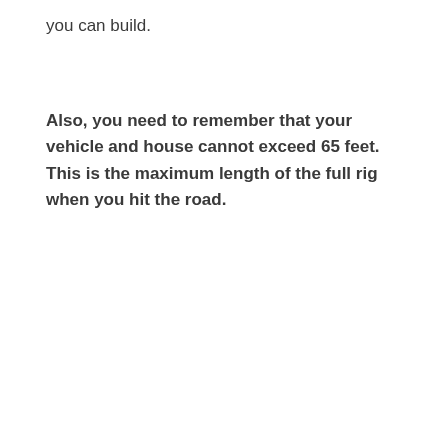you can build.
Also, you need to remember that your vehicle and house cannot exceed 65 feet. This is the maximum length of the full rig when you hit the road.